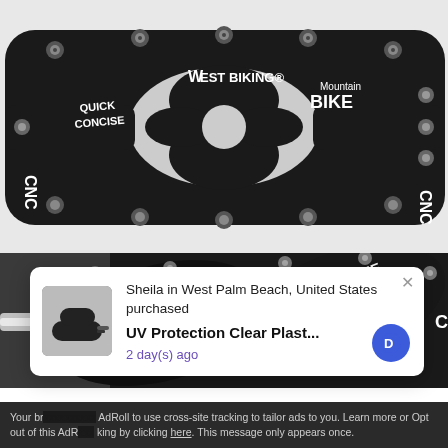[Figure (photo): Close-up top view of a black West Biking CNC mountain bike pedal with cutouts, labeled QUICK CONCISE, CNC, WEST BIKING, Mountain BIKE]
[Figure (photo): Close-up angled view of two black West Biking CNC mountain bike pedals showing cutout design and branding]
[Figure (screenshot): Popup notification showing a product purchase by Sheila in West Palm Beach, United States for UV Protection Clear Plast... 2 day(s) ago, with small product thumbnail and blue icon]
Your br... AdRoll to use cross-site tracking to tailor ads to you. Learn more or Opt out of this AdR... king by clicking here. This message only appears once.